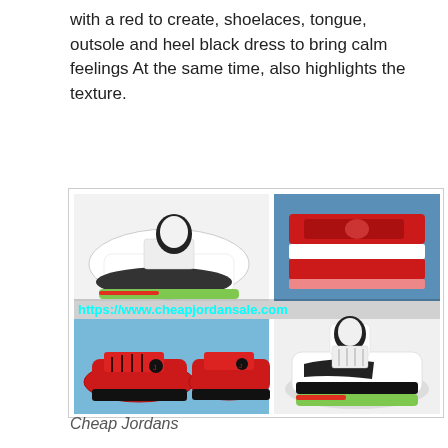with a red to create, shoelaces, tongue, outsole and heel black dress to bring calm feelings At the same time, also highlights the texture.
[Figure (photo): Four-panel collage of Jordan sneakers: top-left shows a white/black/green Air Jordan 5, top-right shows close-up of red/white/black sneaker soles, bottom-left shows a pair of red/black low-top Jordans on blue background, bottom-right shows a white/black Air Jordan 5 from the side. A cyan watermark reads https://www.cheapjordansale.com overlaid across the middle.]
Cheap Jordans